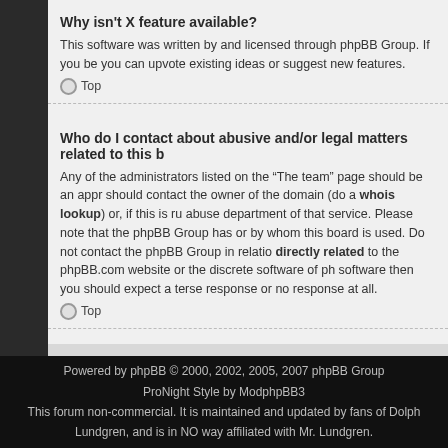Why isn't X feature available?
This software was written by and licensed through phpBB Group. If you be you can upvote existing ideas or suggest new features.
Top
Who do I contact about abusive and/or legal matters related to this b
Any of the administrators listed on the “The team” page should be an appr should contact the owner of the domain (do a whois lookup) or, if this is ru abuse department of that service. Please note that the phpBB Group has or by whom this board is used. Do not contact the phpBB Group in relatio directly related to the phpBB.com website or the discrete software of ph software then you should expect a terse response or no response at all.
Top
Board index
Powered by phpBB © 2000, 2002, 2005, 2007 phpBB Group
ProNight Style by ModphpBB3
This forum non-commercial. It is maintained and updated by fans of Dolph Lundgren, and is in NO way affiliated with Mr. Lundgren.